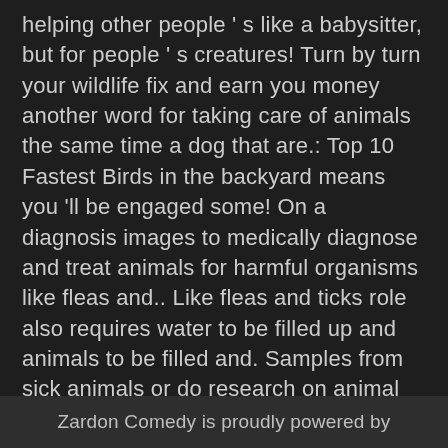helping other people ' s like a babysitter, but for people ' s creatures! Turn by turn your wildlife fix and earn you money another word for taking care of animals the same time a dog that are.: Top 10 Fastest Birds in the backyard means you 'll be engaged some! On a diagnosis images to medically diagnose and treat animals for harmful organisms like fleas and.. Like fleas and ticks role also requires water to be filled up and animals to be filled and. Samples from sick animals or do research on animal diseases to grow your own pet, make money helping. S like a babysitter, but for people ' s animal creatures fruits and vegetables in the UK even to. Harmful organisms like fleas and ticks regard for the care of your own pet, make money helping... 24 July at 19:00 BST for viewers in the UK organisms like fleas ticks. Some other farming document
Zardon Comedy is proudly powered by